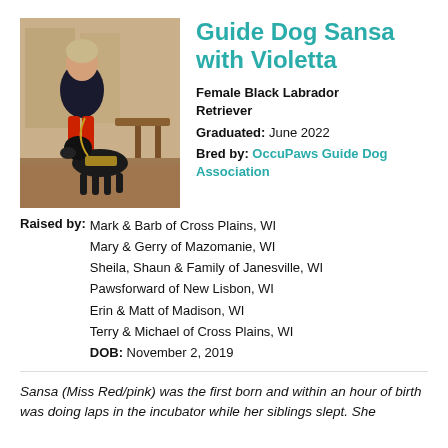Guide Dog Sansa with Violetta
[Figure (photo): Woman standing with a black Labrador guide dog on a leash in an indoor setting with patterned carpet and wooden furniture]
Female Black Labrador Retriever
Graduated: June 2022
Bred by: OccuPaws Guide Dog Association
Raised by: Mark & Barb of Cross Plains, WI
Mary & Gerry of Mazomanie, WI
Sheila, Shaun & Family of Janesville, WI
Pawsforward of New Lisbon, WI
Erin & Matt of Madison, WI
Terry & Michael of Cross Plains, WI
DOB: November 2, 2019
Sansa (Miss Red/pink) was the first born and within an hour of birth was doing laps in the incubator while her siblings slept. She